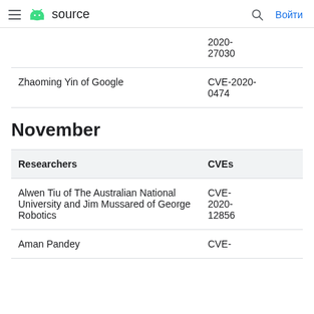≡ 🤖 source   🔍 Войти
| Researchers | CVEs |
| --- | --- |
| (continued from previous page) | 2020-27030 |
| Zhaoming Yin of Google | CVE-2020-0474 |
November
| Researchers | CVEs |
| --- | --- |
| Alwen Tiu of The Australian National University and Jim Mussared of George Robotics | CVE-2020-12856 |
| Aman Pandey | CVE- |